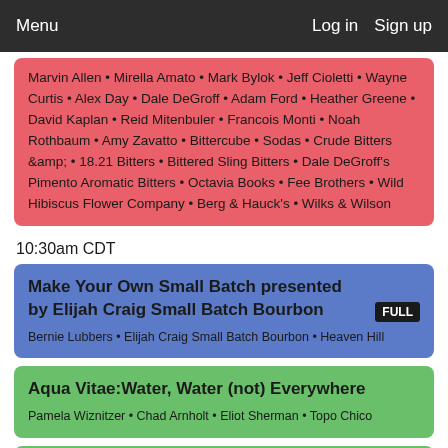Menu  Log in  Sign up
Marvin Allen • Mirella Amato • Mark Bylok • Jeff Cioletti • Wayne Curtis • Alex Day • Dale DeGroff • Adam Ford • Heather Greene • David Kaplan • Reid Mitenbuler • Francois Monti • Noah Rothbaum • Amy Zavatto • Bittercube • Sodas • Crude Bitters &amp • 18.21 Bitters • Bittered Sling Bitters • Dale DeGroff's Pimento Aromatic Bitters • Octavia Books • Fee Brothers • Wild Hibiscus Flower Company • Berg & Hauck's • Wilks & Wilson
10:30am CDT
Make Your Own Small Batch presented by Elijah Craig Small Batch Bourbon
FULL
Bernie Lubbers • Elijah Craig Small Batch Bourbon • Heaven Hill
Aqua Vitae:Water, Water (not) Everywhere
Pamela Wiznitzer • Chad Arnholt • Eliot Sherman • Topo Chico
Going Back To Your Roots To Find Success